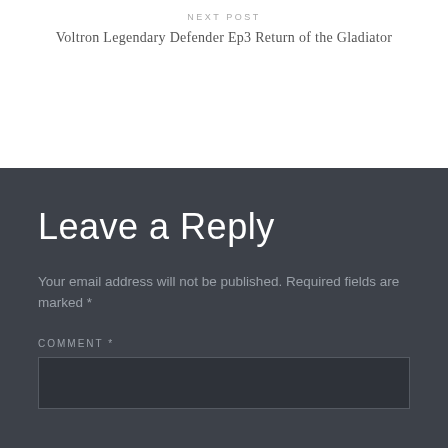NEXT POST
Voltron Legendary Defender Ep3 Return of the Gladiator
Leave a Reply
Your email address will not be published. Required fields are marked *
COMMENT *